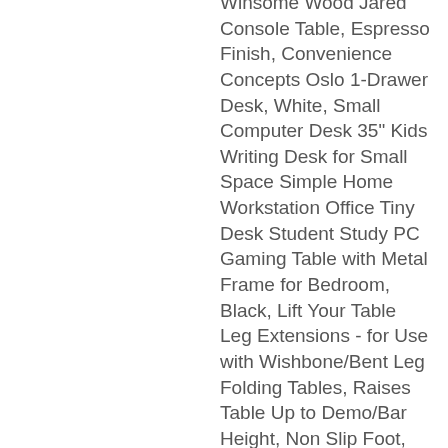Winsome Wood Jared Console Table, Espresso Finish, Convenience Concepts Oslo 1-Drawer Desk, White, Small Computer Desk 35" Kids Writing Desk for Small Space Simple Home Workstation Office Tiny Desk Student Study PC Gaming Table with Metal Frame for Bedroom, Black, Lift Your Table Leg Extensions - for Use with Wishbone/Bent Leg Folding Tables, Raises Table Up to Demo/Bar Height, Non Slip Foot, Hemudu Universal Table Top TV Stand Base VESA